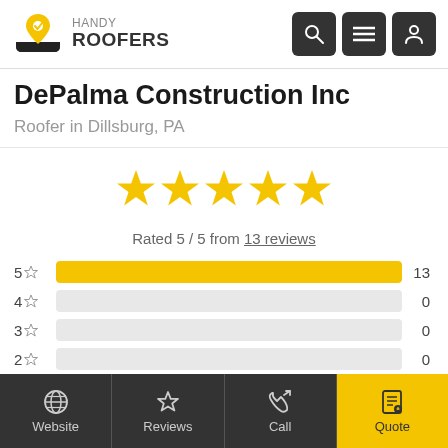HANDY ROOFERS
DePalma Construction Inc
Roofer in Dillsburg, PA
[Figure (infographic): 5 gold filled stars rating display]
Rated 5 / 5 from 13 reviews
[Figure (bar-chart): Rating distribution]
Website | Reviews | Call | Quote